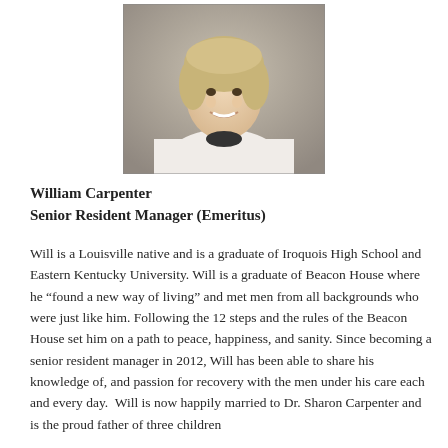[Figure (photo): Portrait photo of William Carpenter, a smiling middle-aged man with light brown/blonde hair wearing a white cable-knit zip-up sweater, photographed against a neutral gray-brown background.]
William Carpenter
Senior Resident Manager (Emeritus)
Will is a Louisville native and is a graduate of Iroquois High School and Eastern Kentucky University. Will is a graduate of Beacon House where he “found a new way of living” and met men from all backgrounds who were just like him. Following the 12 steps and the rules of the Beacon House set him on a path to peace, happiness, and sanity. Since becoming a senior resident manager in 2012, Will has been able to share his knowledge of, and passion for recovery with the men under his care each and every day.  Will is now happily married to Dr. Sharon Carpenter and is the proud father of three children